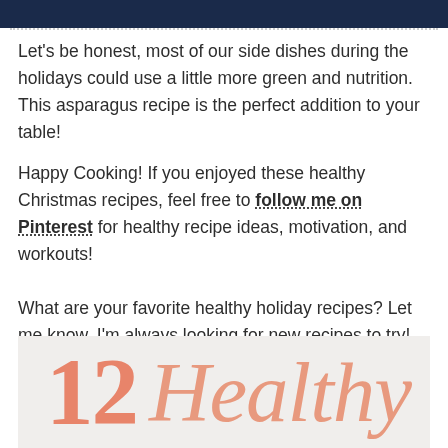[Figure (photo): Dark navy/black partial image at top of page]
Let's be honest, most of our side dishes during the holidays could use a little more green and nutrition. This asparagus recipe is the perfect addition to your table!
Happy Cooking! If you enjoyed these healthy Christmas recipes, feel free to follow me on Pinterest for healthy recipe ideas, motivation, and workouts!
What are your favorite healthy holiday recipes? Let me know, I'm always looking for new recipes to try!
[Figure (infographic): Image showing '12 Healthy' text in salmon/coral color on a marble background]